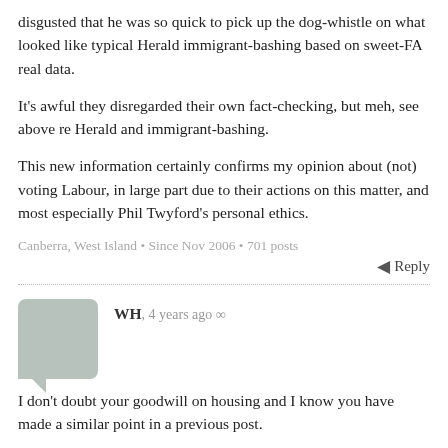disgusted that he was so quick to pick up the dog-whistle on what looked like typical Herald immigrant-bashing based on sweet-FA real data.
It's awful they disregarded their own fact-checking, but meh, see above re Herald and immigrant-bashing.
This new information certainly confirms my opinion about (not) voting Labour, in large part due to their actions on this matter, and most especially Phil Twyford's personal ethics.
Canberra, West Island • Since Nov 2006 • 701 posts
Reply
WH, 4 years ago ∞
I don't doubt your goodwill on housing and I know you have made a similar point in a previous post.
Around 40% of New Zealanders don't own their own home. That's about two million people.